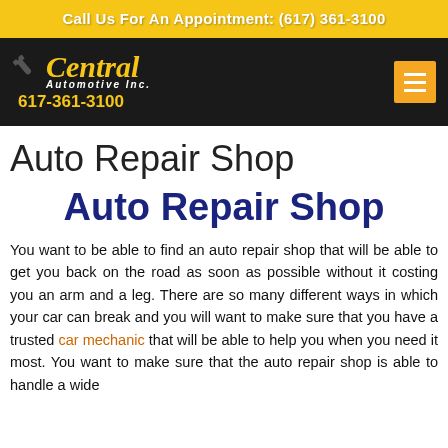Call Us For An Appointment: (617) 361-3100
[Figure (logo): Central Automotive Inc. logo with wrench icon and phone number 617-361-3100]
Auto Repair Shop
Auto Repair Shop
You want to be able to find an auto repair shop that will be able to get you back on the road as soon as possible without it costing you an arm and a leg. There are so many different ways in which your car can break and you will want to make sure that you have a trusted car mechanic that will be able to help you when you need it most. You want to make sure that the auto repair shop is able to handle a wide